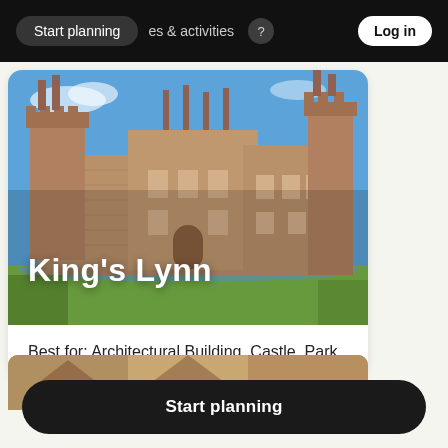Start planning   es & activities   Log in
[Figure (photo): A large historic brick castle/manor house with towers and chimneys under a blue sky, with a moat or water in the foreground and green lawn. Text overlay reads King's Lynn.]
King's Lynn
Best for: Architectural Building, Castle, Park
[Figure (photo): Partial view of another location image at the bottom of the page, partially cropped.]
Start planning